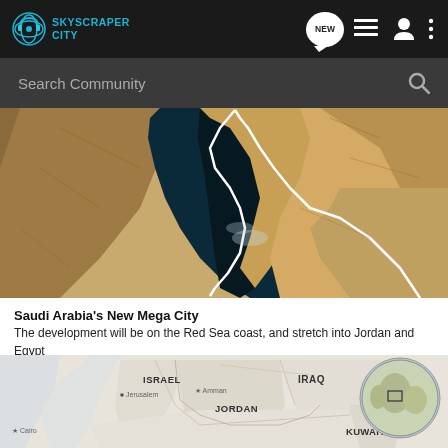SkyscraperCity - Navigation bar with NEW, list, user, and more icons
Search Community
[Figure (photo): Satellite aerial view of the Red Sea, Sinai Peninsula, and surrounding desert regions with a white boundary line marking a territory]
Saudi Arabia's New Mega City
The development will be on the Red Sea coast, and stretch into Jordan and Egypt
[Figure (map): Political map showing Israel, Jordan, Iraq, Kuwait with cities Jerusalem, Amman, Cairo marked and a globe inset in corner]